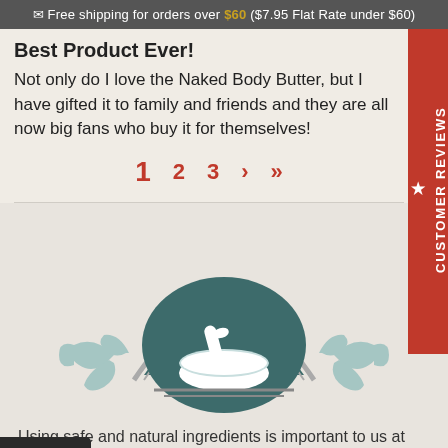✉ Free shipping for orders over $60 ($7.95 Flat Rate under $60)
Best Product Ever!
Not only do I love the Naked Body Butter, but I have gifted it to family and friends and they are all now big fans who buy it for themselves!
1  2  3  ›  »
[Figure (logo): Mortar and pestle logo icon inside a dark teal semicircle arch with decorative grey scrollwork borders below]
Using safe and natural ingredients is important to us at Opulent Blends. To help you understand our